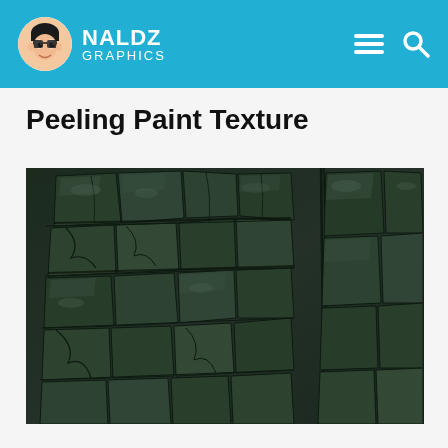NALDZ GRAPHICS
Peeling Paint Texture
[Figure (photo): Close-up photo of dark green peeling and cracked paint texture on a surface, showing irregular flaking and cracking patterns with a glossy sheen.]